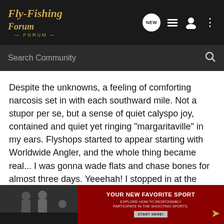Fly-Fishing Forum — NEW icon, list icon, user icon, more icon
Search Community
Despite the unknowns, a feeling of comforting narcosis set in with each southward mile. Not a stupor per se, but a sense of quiet calyspo joy, contained and quiet yet ringing "margaritaville" in my ears. Flyshops started to appear starting with Worldwide Angler, and the whole thing became real... I was gonna wade flats and chase bones for almost three days. Yeeehah! I stopped in at the various shops picking up local expertise, flies, and licenses (yes, they are required but cheap). I ended up stopping at every single flyshop along the way, ticking away the day quickly. I wanted to wet a line before nightfall but was starving so I stopped in that fish shack place in Islamorada, the one that everyone knows about. Damn if I can't remember the name, but their yellowtail snapper, stone crab claws, d... descript... ed up
[Figure (photo): Advertisement banner: photo of two people on the left, red background on right with text 'YOUR NEW FAVORITE SPORT' and 'EXPLORE HOW TO RESPONSIBLY PARTICIPATE IN THE SHOOTING SPORTS.' with a START HERE! button and a golden arrow icon.]